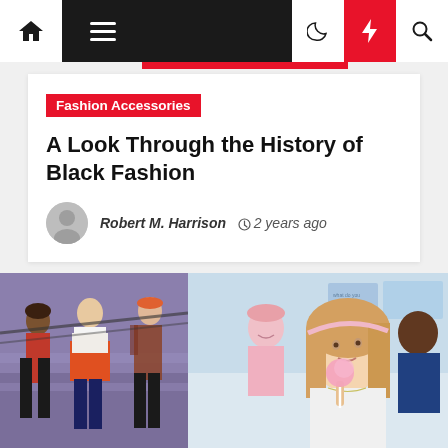Navigation bar with home, menu, moon, bolt, search icons
Fashion Accessories
A Look Through the History of Black Fashion
Robert M. Harrison  2 years ago
[Figure (photo): Two side-by-side photos from the movie Clueless: left shows three characters on stairs in 90s fashion; right shows a blonde girl holding a pink fluffy pen in a classroom]